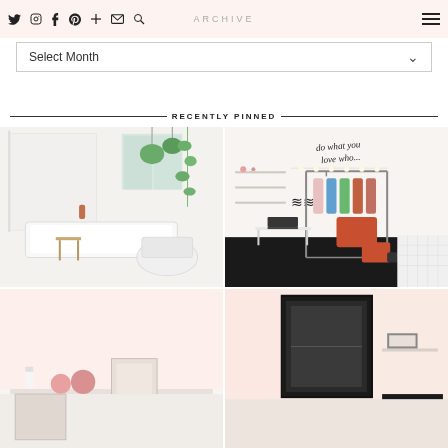Social media icons navigation bar with archive label
Select Month
RECENTLY PINNED
[Figure (photo): White bathroom with plants, bathtub, shower curtain, and toilet]
[Figure (photo): Bedroom/dressing room with clothes rack, shelves, desk with laptop, 'do what you love who' wall text]
[Figure (photo): Light pink bedroom with decorative items]
[Figure (photo): Room with framed art and dark bag on shelf]